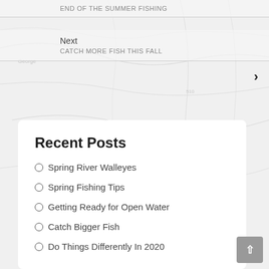END OF THE SUMMER FISHING
Next
CATCH MORE FISH THIS FALL
Recent Posts
Spring River Walleyes
Spring Fishing Tips
Getting Ready for Open Water
Catch Bigger Fish
Do Things Differently In 2020